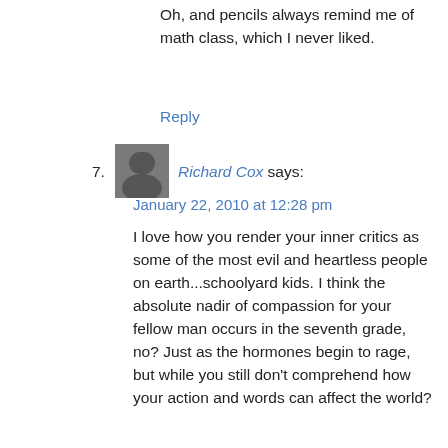Oh, and pencils always remind me of math class, which I never liked.
Reply
7. Richard Cox says:
January 22, 2010 at 12:28 pm
I love how you render your inner critics as some of the most evil and heartless people on earth...schoolyard kids. I think the absolute nadir of compassion for your fellow man occurs in the seventh grade, no? Just as the hormones begin to rage, but while you still don't comprehend how your action and words can affect the world?
Reply
Mary says:
January 22, 2010 at 1:07 pm
Thank you, Richard. You know, it was in the 3rd grade that my class started learning multiplication, and for